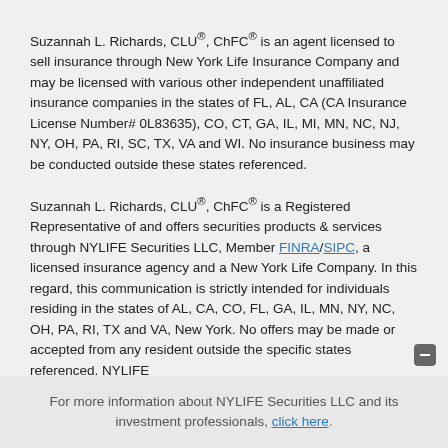Suzannah L. Richards, CLU®, ChFC® is an agent licensed to sell insurance through New York Life Insurance Company and may be licensed with various other independent unaffiliated insurance companies in the states of FL, AL, CA (CA Insurance License Number# 0L83635), CO, CT, GA, IL, MI, MN, NC, NJ, NY, OH, PA, RI, SC, TX, VA and WI. No insurance business may be conducted outside these states referenced.
Suzannah L. Richards, CLU®, ChFC® is a Registered Representative of and offers securities products & services through NYLIFE Securities LLC, Member FINRA/SIPC, a licensed insurance agency and a New York Life Company. In this regard, this communication is strictly intended for individuals residing in the states of AL, CA, CO, FL, GA, IL, MN, NY, NC, OH, PA, RI, TX and VA, New York. No offers may be made or accepted from any resident outside the specific states referenced. NYLIFE
For more information about NYLIFE Securities LLC and its investment professionals, click here.